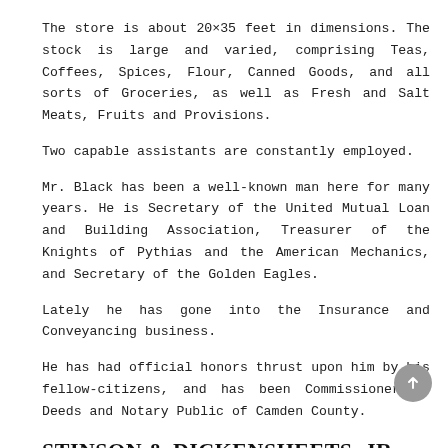The store is about 20×35 feet in dimensions. The stock is large and varied, comprising Teas, Coffees, Spices, Flour, Canned Goods, and all sorts of Groceries, as well as Fresh and Salt Meats, Fruits and Provisions.
Two capable assistants are constantly employed.
Mr. Black has been a well-known man here for many years. He is Secretary of the United Mutual Loan and Building Association, Treasurer of the Knights of Pythias and the American Mechanics, and Secretary of the Golden Eagles.
Lately he has gone into the Insurance and Conveyancing business.
He has had official honors thrust upon him by his fellow-citizens, and has been Commissioner of Deeds and Notary Public of Camden County.
STINSON & DICKENSHEETS, JR.,